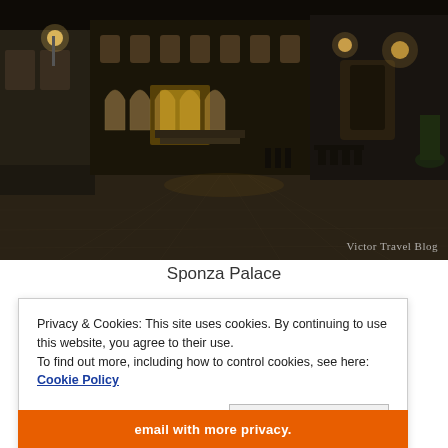[Figure (photo): Night-time photograph of Sponza Palace in Dubrovnik, Croatia. A cobblestone street leads toward the palace with Gothic-Renaissance architecture, illuminated by warm street lights. The scene is dark with golden light glowing from archways and lanterns.]
Sponza Palace
Privacy & Cookies: This site uses cookies. By continuing to use this website, you agree to their use.
To find out more, including how to control cookies, see here: Cookie Policy
Close and accept